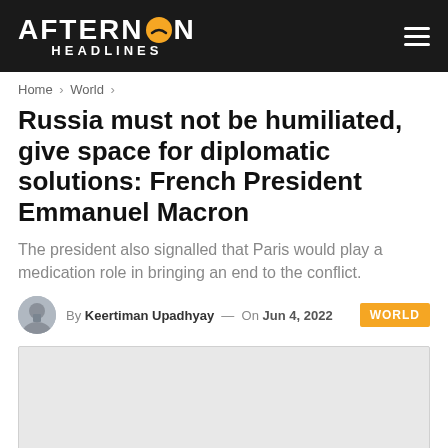AFTERNOON HEADLINES
Home > World >
Russia must not be humiliated, give space for diplomatic solutions: French President Emmanuel Macron
The president also signalled that Paris would play a medication role in bringing an end to the conflict.
By Keertiman Upadhyay — On Jun 4, 2022
[Figure (photo): Light gray image placeholder rectangle]